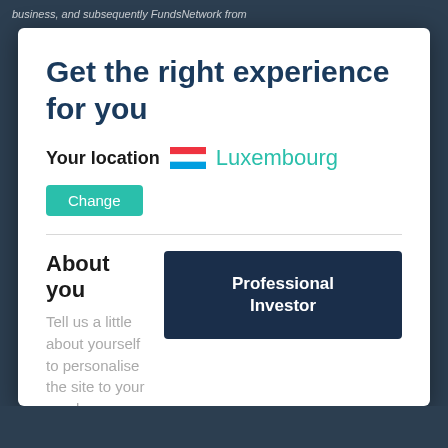business, and subsequently FundsNetwork from
Get the right experience for you
Your location  Luxembourg
Change
About you
Tell us a little about yourself to personalise the site to your needs
Professional Investor
Global page  >
I agree